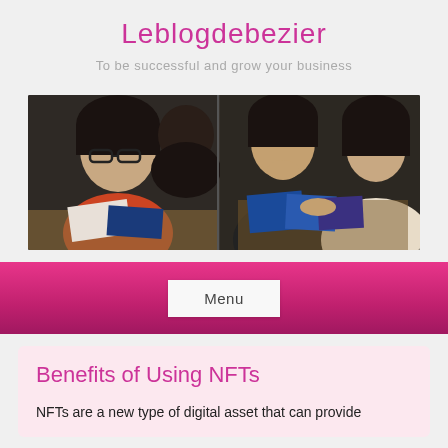leblogdebezier
To be successful and grow your business
[Figure (photo): Three young women looking at papers and documents on a table, appears to be a study or meeting scene]
Menu
Benefits of Using NFTs
NFTs are a new type of digital asset that can provide